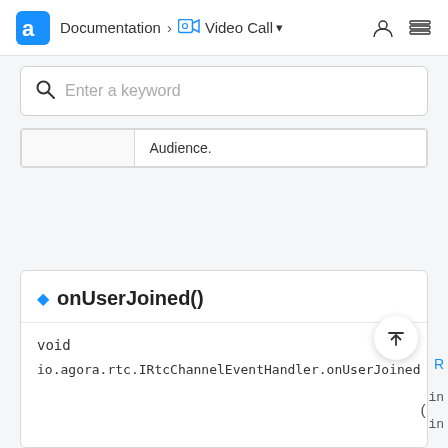Documentation > Video Call
[Figure (screenshot): Search bar with placeholder text 'Enter a keyword']
|  | Audience. |
onUserJoined()
void
io.agora.rtc.IRtcChannelEventHandler.onUserJoined